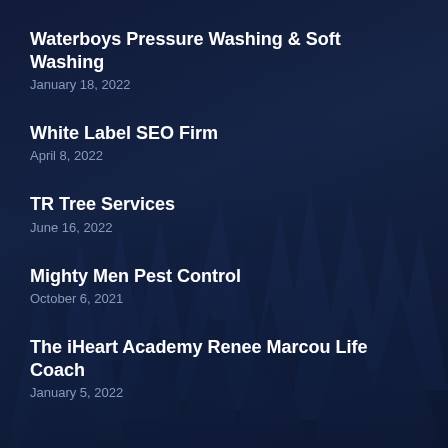Waterboys Pressure Washing & Soft Washing
January 18, 2022
White Label SEO Firm
April 8, 2022
TR Tree Services
June 16, 2022
Mighty Men Pest Control
October 6, 2021
The iHeart Academy Renee Marcou Life Coach
January 5, 2022